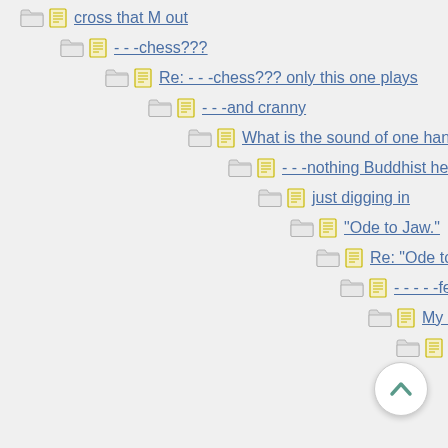cross that M out
- - -chess???
Re: - - -chess??? only this one plays
- - -and cranny
What is the sound of one hand clapping ?
- - -nothing Buddhist here.
just digging in
"Ode to Jaw."
Re: "Ode to Jaw."
- - - - -fertilizer
My kingdom for a ...
not fake..